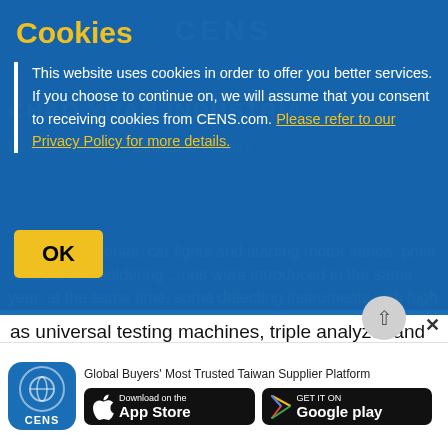CENS
Cookies
This website uses cookies in order to offer you better services. If you choose to continue on, we will assume that you consent to receiving cookies from CENS.com. Please refer to our Privacy Policy for more details.
OK
...antivibrator series, car lights and starting motor series, point welders and soldering ...nes were introduced in the same year, at the same time, some detecting instruments with high precision, such as universal testing machines, triple analyzer and hardness machines etc. were bought besides some production devices were updated.
The punching experience over ten years lays the foundation of great mind and philosophy of gaining a footing in Taiwan and facing the world. Besides the present sales areas, the company also ... INDUSTRIAL SDN. BHD was set up so as to gallop across
Global Buyers' Most Trusted Taiwan Supplier Platform
[Figure (screenshot): Download on the App Store and Get it on Google Play buttons, with CENS app icon]